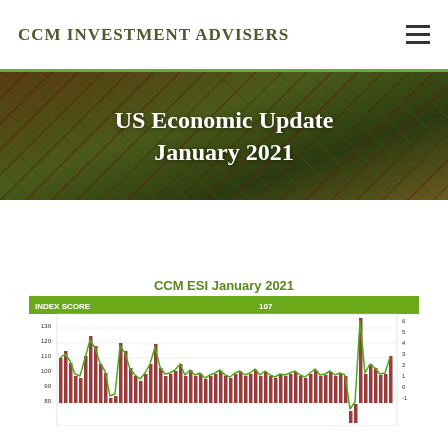CCM INVESTMENT ADVISERS
US Economic Update
January 2021
CCM ESI January 2021
[Figure (continuous-plot): CCM ESI January 2021 bar and line chart showing INDEX SCORE of 107. Dark red bars with green overlay line showing economic index values ranging approximately 80-130 over time.]